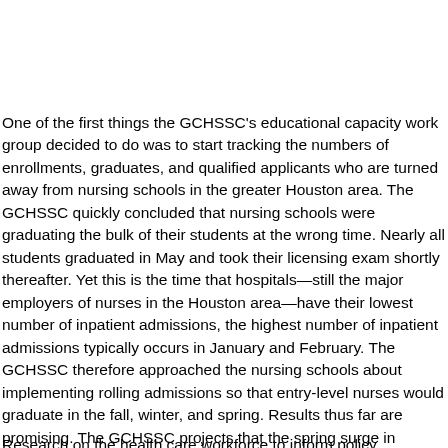One of the first things the GCHSSC's educational capacity work group decided to do was to start tracking the numbers of enrollments, graduates, and qualified applicants who are turned away from nursing schools in the greater Houston area. The GCHSSC quickly concluded that nursing schools were graduating the bulk of their students at the wrong time. Nearly all students graduated in May and took their licensing exam shortly thereafter. Yet this is the time that hospitals—still the major employers of nurses in the Houston area—have their lowest number of inpatient admissions, the highest number of inpatient admissions typically occurs in January and February. The GCHSSC therefore approached the nursing schools about implementing rolling admissions so that entry-level nurses would graduate in the fall, winter, and spring. Results thus far are promising. The GCHSSC projects that the spring surge in graduates will nearly disappear in the next 2 years. can u od on tadalafil yeah cialis sous la langue or viagra online new forum tadalafil effets secondaires.
Research on the health care workforce to inform policy